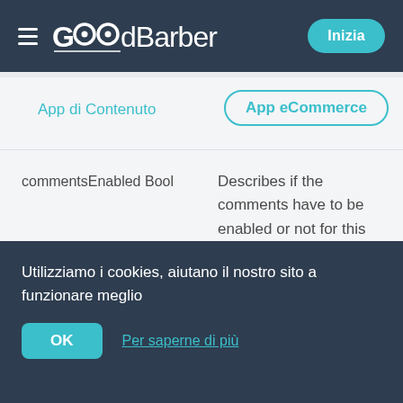GoodBarber — Inizia
App di Contenuto
App eCommerce
| Field | Description |
| --- | --- |
| commentsEnabled Bool | Describes if the comments have to be enabled or not for this item |
| commentsUrl String | URL to access the comments for this item |
Utilizziamo i cookies, aiutano il nostro sito a funzionare meglio
OK
Per saperne di più